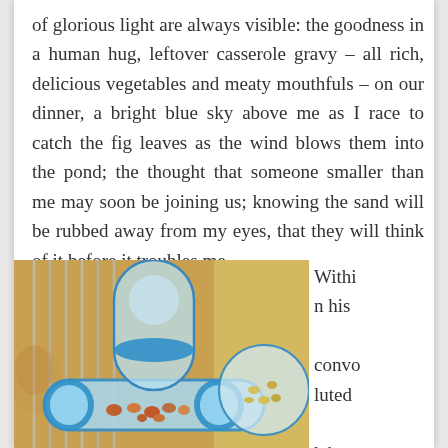of glorious light are always visible: the goodness in a human hug, leftover casserole gravy – all rich, delicious vegetables and meaty mouthfuls – on our dinner, a bright blue sky above me as I race to catch the fig leaves as the wind blows them into the pond; the thought that someone smaller than me may soon be joining us; knowing the sand will be rubbed away from my eyes, that they will think of it before it troubles me.
[Figure (photo): Photo of a hamster cage interior showing plastic tunnels and compartments filled with nuts and seeds, with blue plastic connectors, on a yellow background. A hamster is partially visible on the left side.]
Within his convoluted labyrinth, within his